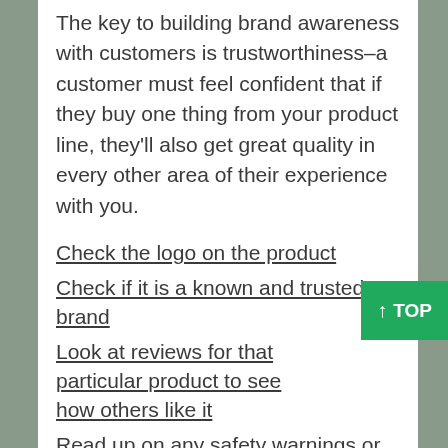The key to building brand awareness with customers is trustworthiness–a customer must feel confident that if they buy one thing from your product line, they'll also get great quality in every other area of their experience with you.
Check the logo on the product
Check if it is a known and trusted brand
Look at reviews for that particular product to see how others like it
Read up on any safety warnings or recalls about that product before use
Read the instructions carefully – some